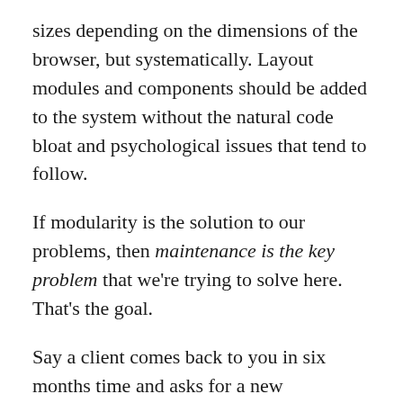sizes depending on the dimensions of the browser, but systematically. Layout modules and components should be added to the system without the natural code bloat and psychological issues that tend to follow.
If modularity is the solution to our problems, then maintenance is the key problem that we're trying to solve here. That's the goal.
Say a client comes back to you in six months time and asks for a new component to be added to the site. First you have to remember how this site works. You have to remember all of those little hacks you performed to just make it work, as well as the areas where documentation is sure to be found wanting.